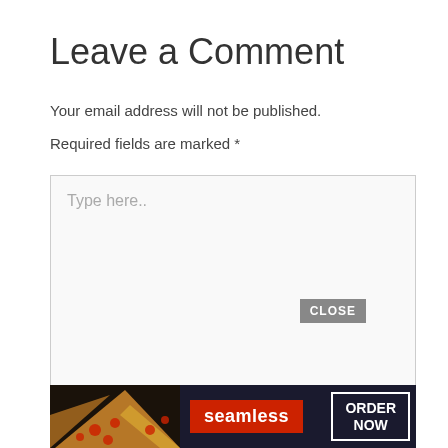Leave a Comment
Your email address will not be published.
Required fields are marked *
[Figure (screenshot): Comment textarea input box with placeholder text 'Type here..' and a resize handle in the bottom-right corner]
[Figure (screenshot): CLOSE button overlay above a Seamless pizza advertisement banner with 'seamless' logo and 'ORDER NOW' button]